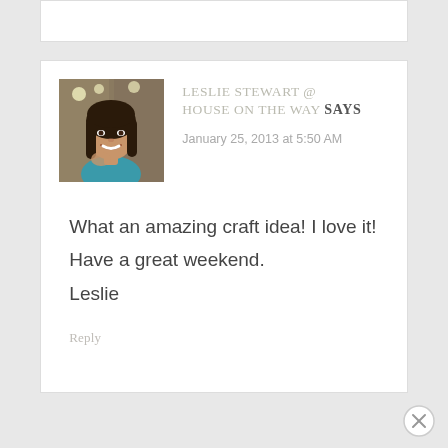[Figure (photo): Profile photo of Leslie Stewart, a woman with dark hair smiling, wearing a teal top]
LESLIE STEWART @ HOUSE ON THE WAY SAYS
January 25, 2013 at 5:50 AM
What an amazing craft idea! I love it!
Have a great weekend.
Leslie
Reply